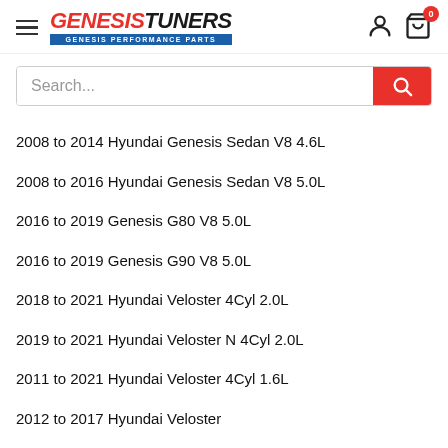Genesis Tuners - Genesis Performance Parts
Search...
2008 to 2014 Hyundai Genesis Sedan V8 4.6L
2008 to 2016 Hyundai Genesis Sedan V8 5.0L
2016 to 2019 Genesis G80 V8 5.0L
2016 to 2019 Genesis G90 V8 5.0L
2018 to 2021 Hyundai Veloster 4Cyl 2.0L
2019 to 2021 Hyundai Veloster N 4Cyl 2.0L
2011 to 2021 Hyundai Veloster 4Cyl 1.6L
2012 to 2017 Hyundai Veloster